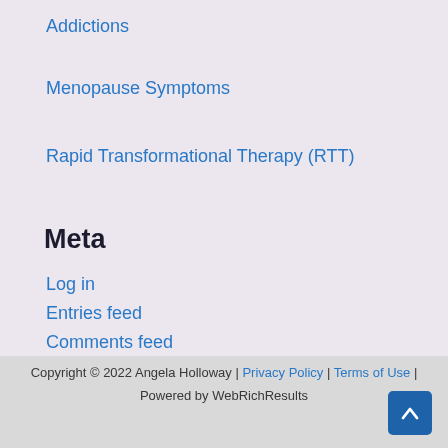Addictions
Menopause Symptoms
Rapid Transformational Therapy (RTT)
Meta
Log in
Entries feed
Comments feed
WordPress.org
Copyright © 2022 Angela Holloway | Privacy Policy | Terms of Use | Powered by WebRichResults